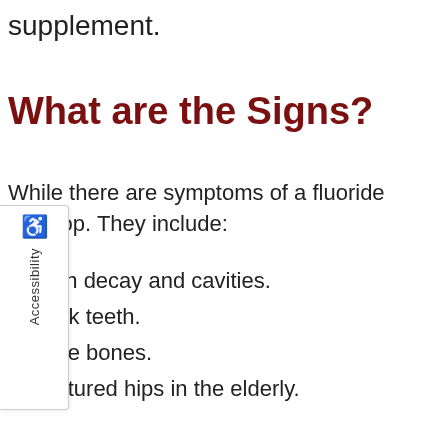supplement.
What are the Signs?
While there are symptoms of a fluoride develop. They include:
Tooth decay and cavities.
Weak teeth.
Brittle bones.
Fractured hips in the elderly.